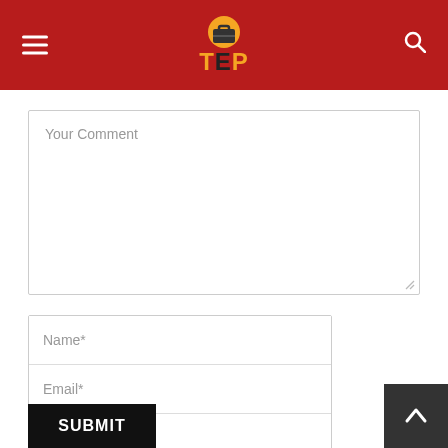TEP
Your Comment
Name*
Email*
Website
Save my name, email, and website in this browser for the next time I comment.
SUBMIT